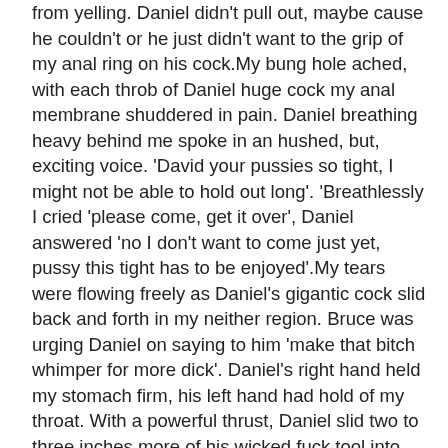from yelling. Daniel didn't pull out, maybe cause he couldn't or he just didn't want to the grip of my anal ring on his cock.My bung hole ached, with each throb of Daniel huge cock my anal membrane shuddered in pain. Daniel breathing heavy behind me spoke in an hushed, but, exciting voice. 'David your pussies so tight, I might not be able to hold out long'. 'Breathlessly I cried 'please come, get it over', Daniel answered 'no I don't want to come just yet, pussy this tight has to be enjoyed'.My tears were flowing freely as Daniel's gigantic cock slid back and forth in my neither region. Bruce was urging Daniel on saying to him 'make that bitch whimper for more dick'. Daniel's right hand held my stomach firm, his left hand had hold of my throat. With a powerful thrust, Daniel slid two to three inches more of his wicked fuck tool into mu innards.My body was convulsing almost out of control, from the pain oozing from my anal opening. Daniel placed his right leg over my thighs and pushed me to my stomach. Panicking I tried to prevent him from completing his maneuver, I was too weak to stop him.I cried out 'NNNOO0, DOOOOON''T,' Daniel paid no mind to my wants